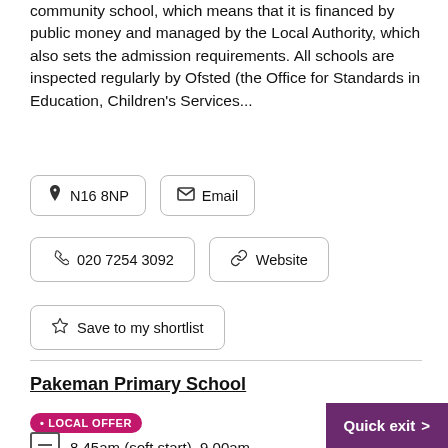community school, which means that it is financed by public money and managed by the Local Authority, which also sets the admission requirements. All schools are inspected regularly by Ofsted (the Office for Standards in Education, Children's Services...
📍 N16 8NP
✉ Email
📞 020 7254 3092
🔗 Website
☆ Save to my shortlist
Pakeman Primary School
• LOCAL OFFER
8.45am (soft start), 9.00am